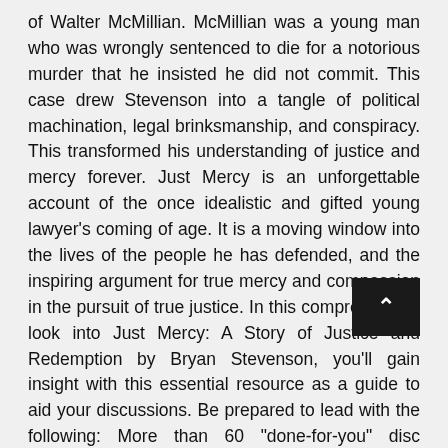of Walter McMillian. McMillian was a young man who was wrongly sentenced to die for a notorious murder that he insisted he did not commit. This case drew Stevenson into a tangle of political machination, legal brinksmanship, and conspiracy. This transformed his understanding of justice and mercy forever. Just Mercy is an unforgettable account of the once idealistic and gifted young lawyer's coming of age. It is a moving window into the lives of the people he has defended, and the inspiring argument for true mercy and compassion in the pursuit of true justice. In this comprehensive look into Just Mercy: A Story of Justice and Redemption by Bryan Stevenson, you'll gain insight with this essential resource as a guide to aid your discussions. Be prepared to lead with the following: More than 60 "done-for-you" discussion prompts available Discussion aid which includes a wealth of information and prompts Overall brief plot synopsis and author biography as refreshers Thought-provoking questions made for deeper examinations Creative